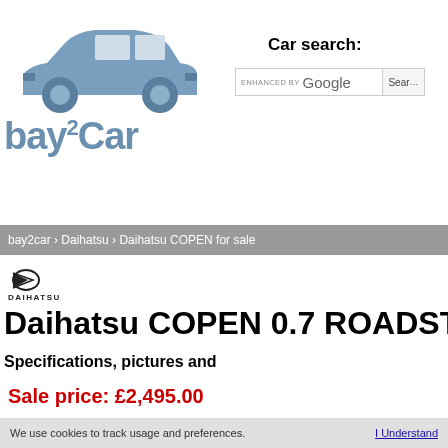[Figure (logo): bay2Car website logo with blue car silhouette and text 'bay2Car']
Car search:
[Figure (screenshot): Google search bar with 'ENHANCED BY Google' text and Search button]
bay2car › Daihatsu › Daihatsu COPEN for sale
[Figure (logo): Daihatsu brand logo with D arrow mark and DAIHATSU text]
Daihatsu COPEN 0.7 ROADSTER 3000
Specifications, pictures and
Sale price: £2,495.00
Car location: United Kingdom
We use cookies to track usage and preferences.  I Understand